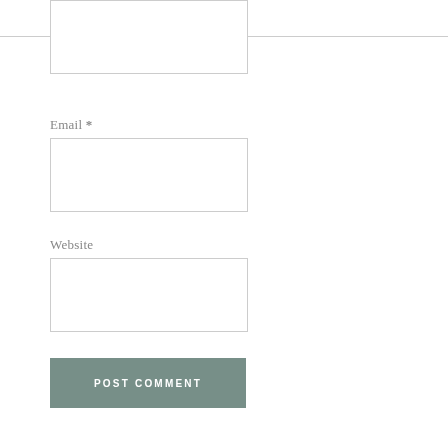≡
Email *
Website
POST COMMENT